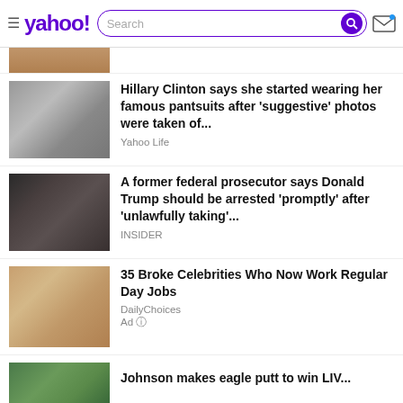yahoo! [search bar] [mail icon]
[Figure (photo): Partial view of a person, cropped at top of news feed]
Hillary Clinton says she started wearing her famous pantsuits after 'suggestive' photos were taken of...
Yahoo Life
[Figure (photo): Close-up photo of Donald Trump with mouth open]
A former federal prosecutor says Donald Trump should be arrested 'promptly' after 'unlawfully taking'...
INSIDER
[Figure (photo): Photo of a blonde woman celebrity]
35 Broke Celebrities Who Now Work Regular Day Jobs
DailyChoices
Ad
[Figure (photo): Partial view of a golf course or nature scene at bottom]
Johnson makes eagle putt to win LIV...